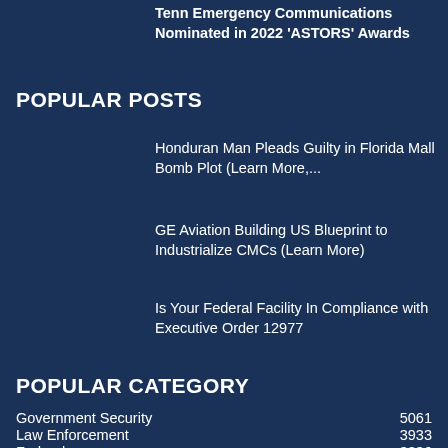Tenn Emergency Communications Nominated in 2022 'ASTORS' Awards
POPULAR POSTS
Honduran Man Pleads Guilty in Florida Mall Bomb Plot (Learn More,...
GE Aviation Building US Blueprint to Industrialize CMCs (Learn More)
Is Your Federal Facility In Compliance with Executive Order 12977
POPULAR CATEGORY
Government Security    5061
Law Enforcement    3933
Federal    3836